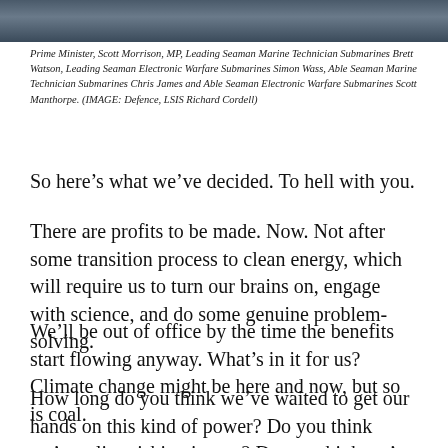[Figure (photo): A cropped photograph showing people in a military/naval setting, partially visible at the top of the page.]
Prime Minister, Scott Morrison, MP, Leading Seaman Marine Technician Submarines Brett Watson, Leading Seaman Electronic Warfare Submarines Simon Wass, Able Seaman Marine Technician Submarines Chris James and Able Seaman Electronic Warfare Submarines Scott Manthorpe. (IMAGE: Defence, LSIS Richard Cordell)
So here’s what we’ve decided. To hell with you.
There are profits to be made. Now. Not after some transition process to clean energy, which will require us to turn our brains on, engage with science, and do some genuine problem-solving.
We’ll be out of office by the time the benefits start flowing anyway. What’s in it for us? Climate change might be here and now, but so is coal.
How long do you think we’ve waited to get our hands on this kind of power? Do you think we’re relinquishing it now? Do you think we’re about to leave all that money in the ground? Just because of